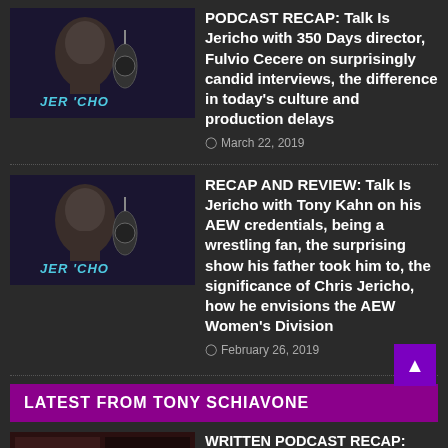[Figure (photo): Talk Is Jericho podcast thumbnail with person and microphone]
PODCAST RECAP: Talk Is Jericho with 350 Days director, Fulvio Cecere on surprisingly candid interviews, the difference in today's culture and production delays
March 22, 2019
[Figure (photo): Talk Is Jericho podcast thumbnail with person and microphone]
RECAP AND REVIEW: Talk Is Jericho with Tony Kahn on his AEW credentials, being a wrestling fan, the surprising show his father took him to, the significance of Chris Jericho, how he envisions the AEW Women's Division
February 26, 2019
LATEST FROM TONY SCHIAVONE
[Figure (photo): WrestleWar podcast thumbnail with wrestlers]
WRITTEN PODCAST RECAP: What Happened When on WrestleWar '92 – why Tony pronounced "The Yeti" so strangely, how Marc Mero got a Little Richard gimmick, could Tony take Buff Bagwell in a shoot fight? (Ep. 41)